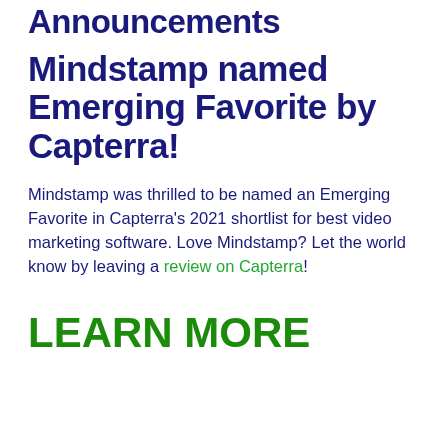Announcements
Mindstamp named Emerging Favorite by Capterra!
Mindstamp was thrilled to be named an Emerging Favorite in Capterra’s 2021 shortlist for best video marketing software. Love Mindstamp? Let the world know by leaving a review on Capterra!
LEARN MORE